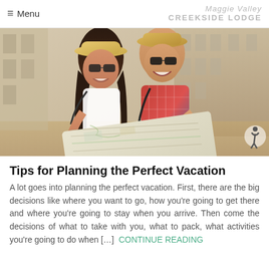≡ Menu | Maggie Valley CREEKSIDE LODGE
[Figure (photo): A smiling couple wearing sunglasses and hats, looking at a map together outdoors in front of a building. The man wears a plaid shirt and the woman wears a white top. A small accessibility icon is visible in the lower right corner.]
Tips for Planning the Perfect Vacation
A lot goes into planning the perfect vacation. First, there are the big decisions like where you want to go, how you're going to get there and where you're going to stay when you arrive. Then come the decisions of what to take with you, what to pack, what activities you're going to do when […]   CONTINUE READING